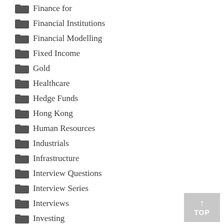Finance for
Financial Institutions
Financial Modelling
Fixed Income
Gold
Healthcare
Hedge Funds
Hong Kong
Human Resources
Industrials
Infrastructure
Interview Questions
Interview Series
Interviews
Investing